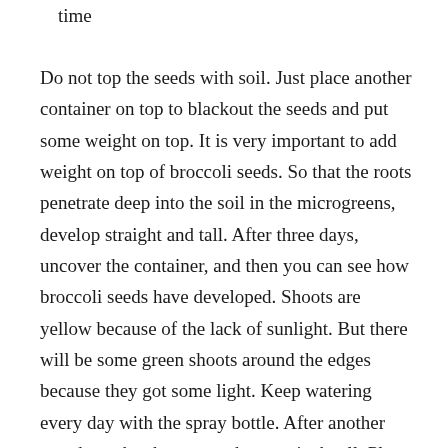time
Do not top the seeds with soil. Just place another container on top to blackout the seeds and put some weight on top. It is very important to add weight on top of broccoli seeds. So that the roots penetrate deep into the soil in the microgreens, develop straight and tall. After three days, uncover the container, and then you can see how broccoli seeds have developed. Shoots are yellow because of the lack of sunlight. But there will be some green shoots around the edges because they got some light. Keep watering every day with the spray bottle. After another two days, the shoots are about an inch tall. Place the container near an airflow or a draft from